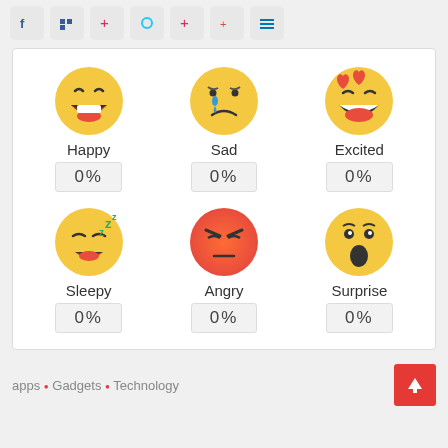[Figure (other): Social media share buttons row: Facebook, Twitter/X, Pinterest, other icons]
[Figure (infographic): Emotion reaction widget showing 6 emoji faces (Happy, Sad, Excited, Sleepy, Angry, Surprise) each with a 0% counter below]
apps • Gadgets • Technology